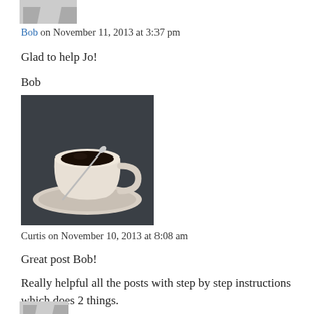[Figure (illustration): Partial avatar/profile image silhouette at top of page]
Bob on November 11, 2013 at 3:37 pm
Glad to help Jo!
Bob
[Figure (photo): Photo of a white coffee cup and saucer with black coffee and a spoon, on a dark background]
Curtis on November 10, 2013 at 8:08 am
Great post Bob!
Really helpful all the posts with step by step instructions which does 2 things.
One, makes it harder to fail.
Two, takes away all our excuses for not going forward.:)
[Figure (illustration): Partial avatar/profile image silhouette at bottom of page]